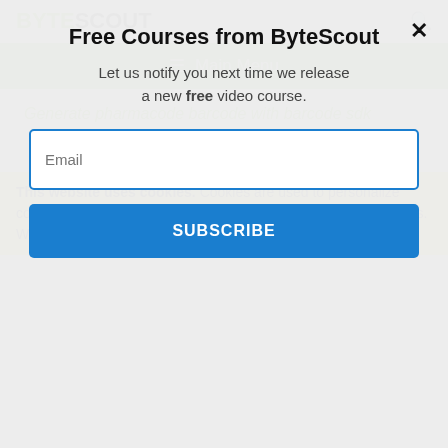[Figure (screenshot): ByteScout website header with logo and search icon]
BYTE SCOUT  [search icon]
≡  Main Menu
Generate pharmacode barcode with barcode sdk
ByteScout Premium Suite – VB.NET –
This website uses cookies. Cookies are used to personalize content, analyze traffic, provide social media features, display ads. We also share
Free Courses from ByteScout
Let us notify you next time we release a new free video course.
Email
SUBSCRIBE